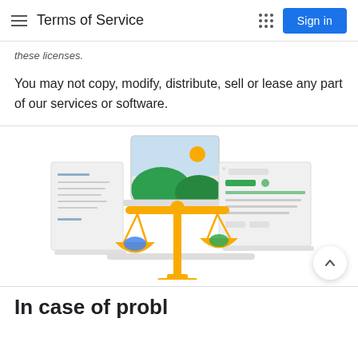Terms of Service
these licenses.
You may not copy, modify, distribute, sell or lease any part of our services or software.
[Figure (illustration): An illustration of a golden balance scale with a blue stone on the left pan and a green stone on the right pan, with document and browser window icons in the background and a landscape photo in the center top.]
In case of problems